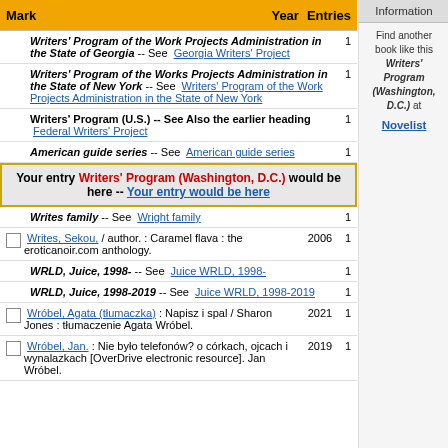| Mark | Year | Entries |
| --- | --- | --- |
| Writers' Program of the Work Projects Administration in the State of Georgia -- See Georgia Writers' Project |  | 1 |
| Writers' Program of the Works Projects Administration in the State of New York -- See Writers' Program of the Work Projects Administration in the State of New York |  | 1 |
| Writers' Program (U.S.) -- See Also the earlier heading Federal Writers' Project |  | 1 |
| American guide series -- See American guide series |  | 1 |
| Your entry Writers' Program (Washington, D.C.) would be here -- Your entry would be here |  |  |
| Writes family -- See Wright family |  | 1 |
| Writes, Sekou, / author. : Caramel flava : the eroticanoir.com anthology. | 2006 | 1 |
| WRLD, Juice, 1998- -- See Juice WRLD, 1998- |  | 1 |
| WRLD, Juice, 1998-2019 -- See Juice WRLD, 1998-2019 |  | 1 |
| Wróbel, Agata (tłumaczka) : Napisz i spal / Sharon Jones : tłumaczenie Agata Wróbel. | 2021 | 1 |
| Wróbel, Jan. : Nie było telefonów? o córkach, ojcach i wynalazkach [OverDrive electronic resource]. Jan Wróbel. | 2019 | 1 |
Information
Find another book like this Writers' Program (Washington, D.C.) at Novelist